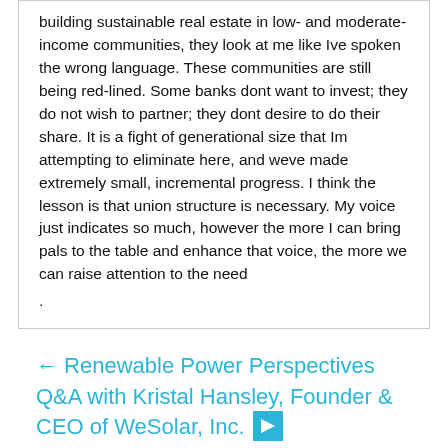building sustainable real estate in low- and moderate-income communities, they look at me like Ive spoken the wrong language. These communities are still being red-lined. Some banks dont want to invest; they do not wish to partner; they dont desire to do their share. It is a fight of generational size that Im attempting to eliminate here, and weve made extremely small, incremental progress. I think the lesson is that union structure is necessary. My voice just indicates so much, however the more I can bring pals to the table and enhance that voice, the more we can raise attention to the need
.
← Renewable Power Perspectives Q&A with Kristal Hansley, Founder & CEO of WeSolar, Inc.